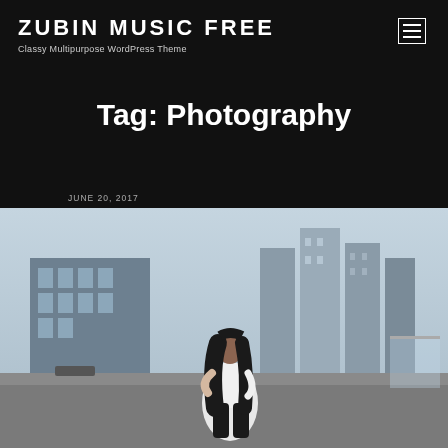ZUBIN MUSIC FREE
Classy Multipurpose WordPress Theme
Tag: Photography
JUNE 20, 2017
[Figure (photo): A woman with long dark hair wearing a white top and black pants, crouching on a rooftop with a modern city skyline in the background. Buildings are visible behind her with a light blue-grey sky.]